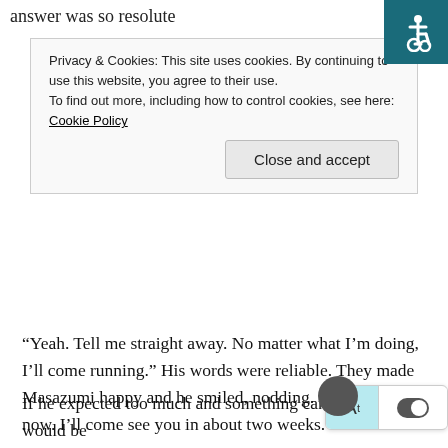answer was so resolute
Privacy & Cookies: This site uses cookies. By continuing to use this website, you agree to their use.
To find out more, including how to control cookies, see here: Cookie Policy
Close and accept
[Figure (illustration): Accessibility icon — white wheelchair symbol on teal/dark-teal background]
“Yeah. Tell me straight away. No matter what I’m doing, I’ll come running.” His words were reliable. They made Masazumi happy and he smiled, nodding. “I’d better go now. I’ll come see you in about two weeks.”
Yoshihisa kissed Masazumi as if to promise him, sighing as they exchanged their feelings with the kiss. He stood up, his back muscles stretching, and left the bedroom they had shared with gentle footsteps. From this evening Masazumi would have to sleep by himself. He didn’t want to sleep in such an overly big bed by himself, this nap would be the last time
If he expected too much and something came up, he would be